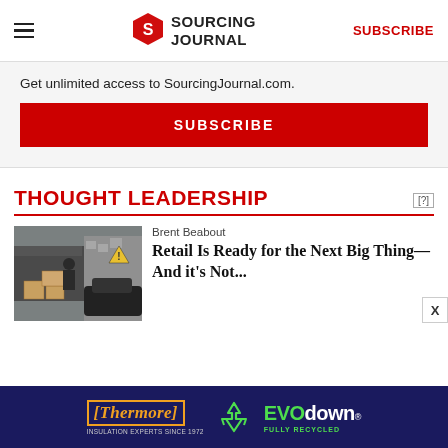Sourcing Journal | SUBSCRIBE
Get unlimited access to SourcingJournal.com.
SUBSCRIBE
THOUGHT LEADERSHIP
Brent Beabout
Retail Is Ready for the Next Big Thing—And it's Not...
[Figure (photo): Workers unloading boxes from a delivery truck on a city street.]
[Figure (logo): Thermore and EVO down advertisement banner. Thermore: Insulation Experts Since 1972. EVO down: Fully Recycled.]